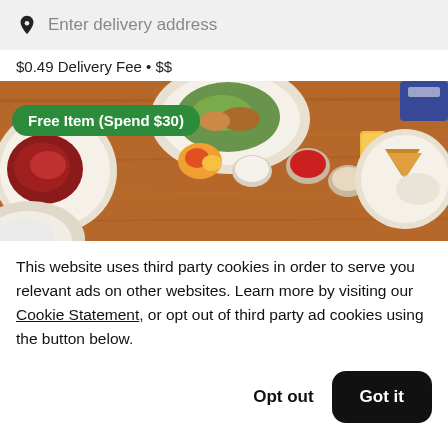Enter delivery address
$0.49 Delivery Fee • $$
[Figure (photo): Overhead photo of various restaurant food dishes on a wooden table, with a green promotional badge reading 'Free Item (Spend $30)']
This website uses third party cookies in order to serve you relevant ads on other websites. Learn more by visiting our Cookie Statement, or opt out of third party ad cookies using the button below.
Opt out
Got it